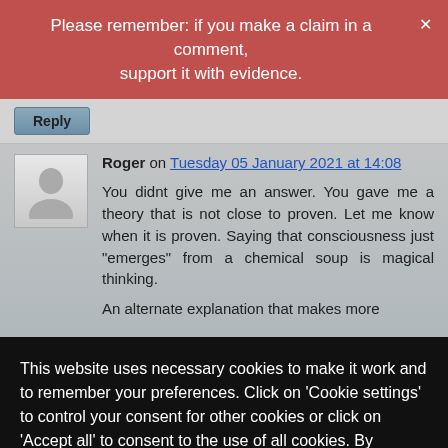Please remember: if you make a claim in a comment, support it with evidence.
Reply
Roger on Tuesday 05 January 2021 at 14:08
You didnt give me an answer. You gave me a theory that is not close to proven. Let me know when it is proven. Saying that consciousness just "emerges" from a chemical soup is magical thinking.

An alternate explanation that makes more
This website uses necessary cookies to make it work and to remember your preferences. Click on 'Cookie settings' to control your consent for other cookies or click on 'Accept all' to consent to the use of all cookies. By continuing to browse this website you are agreeing to our Privacy policy.
Accept all
Cookie settings
Privacy policy